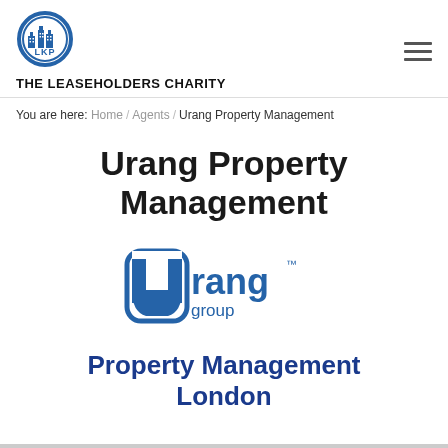[Figure (logo): LKP circular blue logo with building icons and 'LKP' text]
THE LEASEHOLDERS CHARITY
[Figure (other): Hamburger menu icon (three horizontal lines)]
You are here: Home / Agents / Urang Property Management
Urang Property Management
[Figure (logo): Urang group logo with rounded square U shape and text 'Urang group' with TM mark]
Property Management London